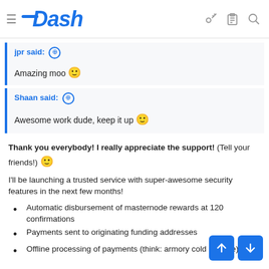Dash
jpr said: ⊕

Amazing moo 🙂
Shaan said: ⊕

Awesome work dude, keep it up 🙂
Thank you everybody! I really appreciate the support! (Tell your friends!) 🙂
I'll be launching a trusted service with super-awesome security features in the next few months!
Automatic disbursement of masternode rewards at 120 confirmations
Payments sent to originating funding addresses
Offline processing of payments (think: armory cold storage)